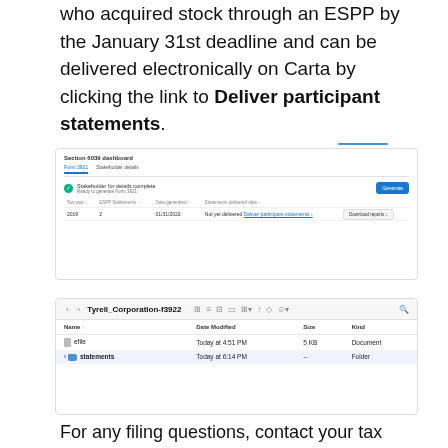who acquired stock through an ESPP by the January 31st deadline and can be delivered electronically on Carta by clicking the link to Deliver participant statements.
[Figure (screenshot): Section 6039 dashboard screenshot showing Form 3921, Stakeholder details tab, with status 'Stakeholder for details complete — Ready to generate Form 3921', a Generate button, and a table row showing Tax year 2019, ESPP Settlements 2, Date generated 01/31/2022, Statements delivered date: Not yet delivered — Deliver participant statements link, and Download reports button.]
[Figure (screenshot): macOS Finder window showing folder 'Tyrell_Corporation-f3922' with two items: 'efile' (Document, 5 KB, Today at 4:51 PM) and 'statements' (Folder, Today at 6:14 PM).]
For any filing questions, contact your tax advisor.